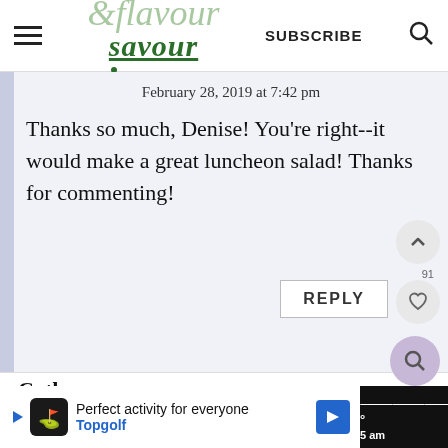& flavour savour — SUBSCRIBE
February 28, 2019 at 7:42 pm
Thanks so much, Denise! You're right--it would make a great luncheon salad! Thanks for commenting!
REPLY
Cathy
Perfect activity for everyone Topgolf